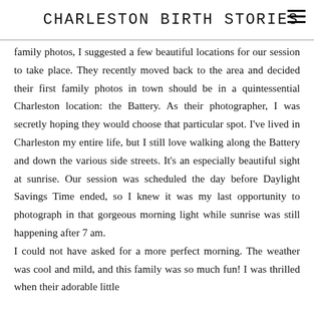CHARLESTON BIRTH STORIES
family photos, I suggested a few beautiful locations for our session to take place. They recently moved back to the area and decided their first family photos in town should be in a quintessential Charleston location: the Battery. As their photographer, I was secretly hoping they would choose that particular spot. I've lived in Charleston my entire life, but I still love walking along the Battery and down the various side streets. It's an especially beautiful sight at sunrise. Our session was scheduled the day before Daylight Savings Time ended, so I knew it was my last opportunity to photograph in that gorgeous morning light while sunrise was still happening after 7 am.
I could not have asked for a more perfect morning. The weather was cool and mild, and this family was so much fun! I was thrilled when their adorable little